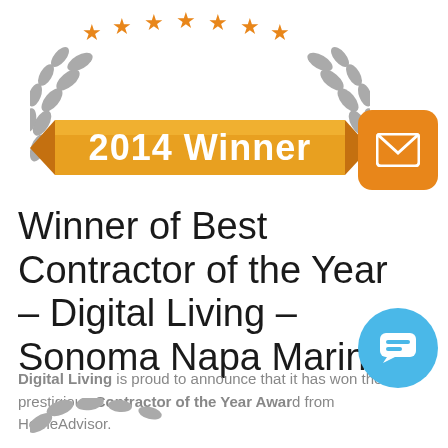[Figure (illustration): Award badge with laurel wreath, stars, and orange banner reading '2014 Winner']
Winner of Best Contractor of the Year – Digital Living – Sonoma Napa Marin
Digital Living is proud to announce that it has won the prestigious Contractor of the Year Award from HomeAdvisor.